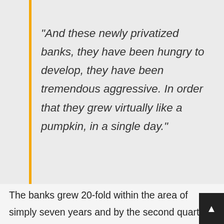“And these newly privatized banks, they have been hungry to develop, they have been tremendous aggressive. In order that they grew virtually like a pumpkin, in a single day.”
The banks grew 20-fold within the area of simply seven years and by the second quarter of 2008, the nationwide debt had grown to 50 billion euro equating to 160,000 euro price of debt for each